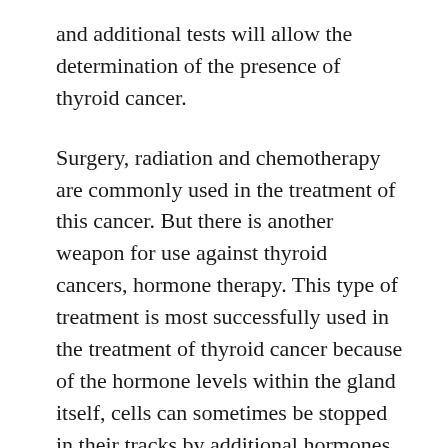and additional tests will allow the determination of the presence of thyroid cancer.
Surgery, radiation and chemotherapy are commonly used in the treatment of this cancer. But there is another weapon for use against thyroid cancers, hormone therapy. This type of treatment is most successfully used in the treatment of thyroid cancer because of the hormone levels within the gland itself, cells can sometimes be stopped in their tracks by additional hormones being introduced.
Prognosis for patients diagnosed with thyroid cancer will depend on the health of the patient,